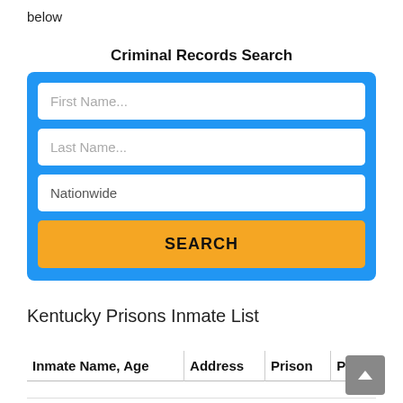below
Criminal Records Search
[Figure (screenshot): A web search form with a blue background containing three input fields (First Name, Last Name, Nationwide) and an orange SEARCH button]
Kentucky Prisons Inmate List
| Inmate Name, Age | Address | Prison | Photo |
| --- | --- | --- | --- |